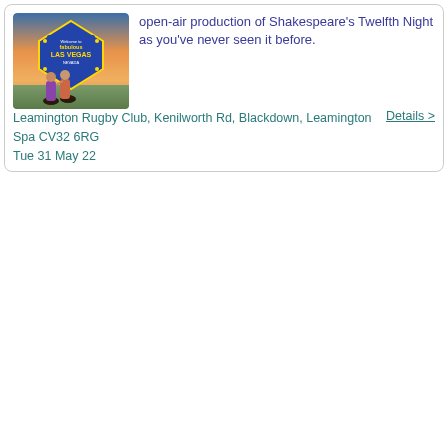[Figure (photo): Photo of two people in front of a Las Vegas Nevada welcome sign at sunset]
open-air production of Shakespeare's Twelfth Night as you've never seen it before.
Leamington Rugby Club, Kenilworth Rd, Blackdown, Leamington Spa CV32 6RG
Details >
Tue 31 May 22